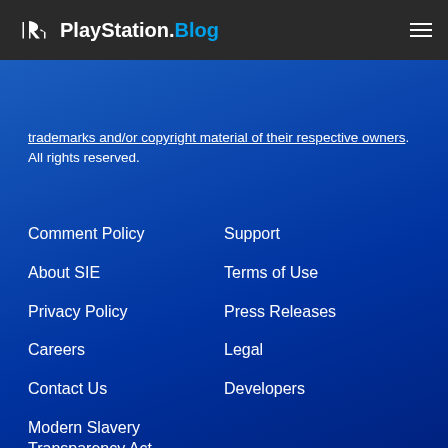PlayStation.Blog
trademarks and/or copyright material of their respective owners. All rights reserved.
Comment Policy
About SIE
Privacy Policy
Careers
Contact Us
Modern Slavery Transparency Act Statement
Support
Terms of Use
Press Releases
Legal
Developers